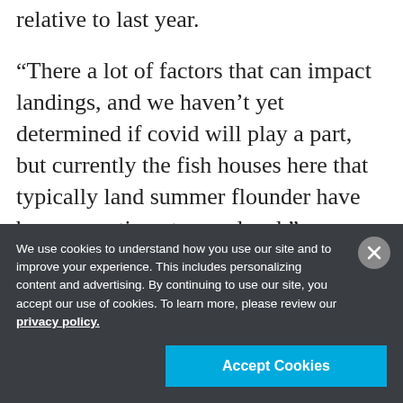relative to last year.
“There a lot of factors that can impact landings, and we haven’t yet determined if covid will play a part, but currently the fish houses here that typically land summer flounder have been operating at same level.”
The state’s commercial landings for summer flounder have been consistent since 2008, with
We use cookies to understand how you use our site and to improve your experience. This includes personalizing content and advertising. By continuing to use our site, you accept our use of cookies. To learn more, please review our privacy policy.
Accept Cookies